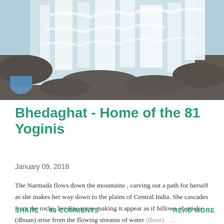[Figure (photo): A waterfall scene showing rushing white water cascading over dark rocks, with mist rising. The Narmada river at Bhedaghat.]
Bhedaghat - Home of the 81 Yoginis
January 09, 2018
The Narmada flows down the mountains , carving out a path for herself as she makes her way down to the plains of Central India. She cascades from the rocks, her fine spray making it appear as if billows of smoke (dhuan) arise from the flowing streams of water (dhaar).   …
SHARE   40 COMMENTS   READ MORE